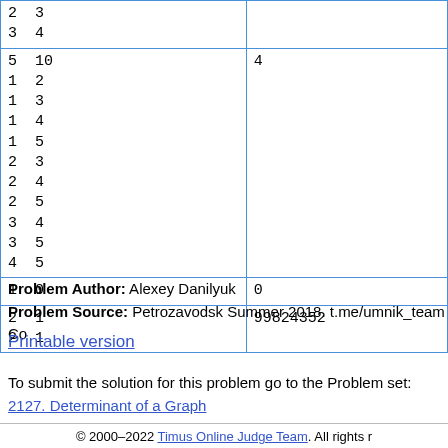| Input | Output |
| --- | --- |
| 2 3
3 4 |  |
| 5 10
1 2
1 3
1 4
1 5
2 3
2 4
2 5
3 4
3 5
4 5 | 4 |
| 1 0 | 0 |
| 2 1
2 1 | 99824352 |
Problem Author: Alexey Danilyuk
Problem Source: Petrozavodsk Summer 2018. t.me/umnik_team Co
Printable version
To submit the solution for this problem go to the Problem set:
2127. Determinant of a Graph
© 2000–2022 Timus Online Judge Team. All rights r